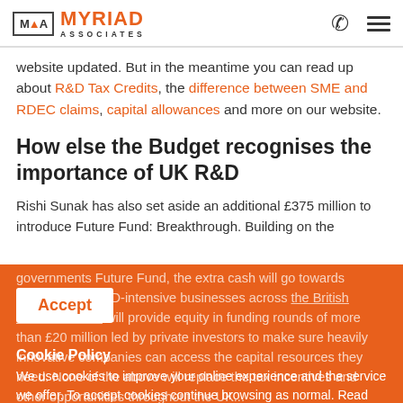Myriad Associates
website updated. But in the meantime you can read up about R&D Tax Credits, the difference between SME and RDEC claims, capital allowances and more on our website.
How else the Budget recognises the importance of UK R&D
Rishi Sunak has also set aside an additional £375 million to introduce Future Fund: Breakthrough. Building on the government's Future Fund, the extra cash will go towards scaling up of R&D-intensive businesses across the UK. The British Business Bank will provide equity in funding rounds of more than £20 million led by private investors to make sure heavily innovative companies can access the capital resources they need. None of the above will replace the tax incentives and other opportunities throughout the UK...
Cookie Policy
We use cookies to improve your online experience and the service we offer. To accept cookies continue browsing as normal. Read our cookies policy for more information.